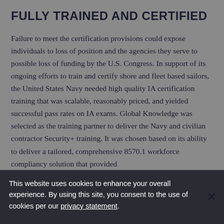FULLY TRAINED AND CERTIFIED
Failure to meet the certification provisions could expose individuals to loss of position and the agencies they serve to possible loss of funding by the U.S. Congress. In support of its ongoing efforts to train and certify shore and fleet based sailors, the United States Navy needed high quality IA certification training that was scalable, reasonably priced, and yielded successful pass rates on IA exams. Global Knowledge was selected as the training partner to deliver the Navy and civilian contractor Security+ training. It was chosen based on its ability to deliver a tailored, comprehensive 8570.1 workforce compliancy solution that provided
This website uses cookies to enhance your overall experience. By using this site, you consent to the use of cookies per our privacy statement.